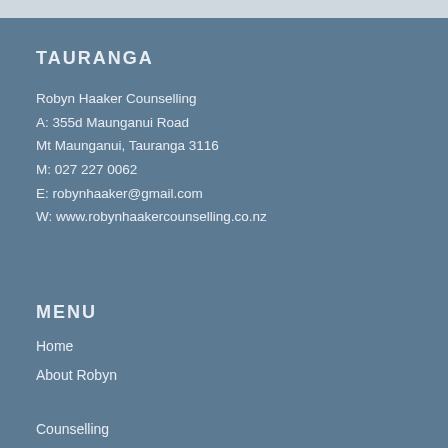TAURANGA
Robyn Haaker Counselling
A: 355d Maunganui Road
Mt Maunganui, Tauranga 3116
M: 027 227 0062
E: robynhaaker@gmail.com
W: www.robynhaakercounselling.co.nz
MENU
Home
About Robyn
Counselling